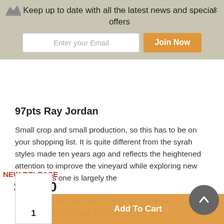[Figure (screenshot): Newsletter signup banner with crown icon, email input field, and orange Join Now button on a tan/khaki background with a close X button]
97pts Ray Jordan
Small crop and small production, so this has to be on your shopping list. It is quite different from the syrah styles made ten years ago and reflects the heightened attention to improve the vineyard while exploring new clones. This one is largely the Houghton clone but there is also 42% clone 470 with the exciting clone 174 planned for later release. The aromatics are heightened by the inclusion of viognier and mourvedre. It is such a wonderfully fragrant, perfumed wine with underlying regional ironstone character
NEW RELEASE
$52.00
1
Add To Cart